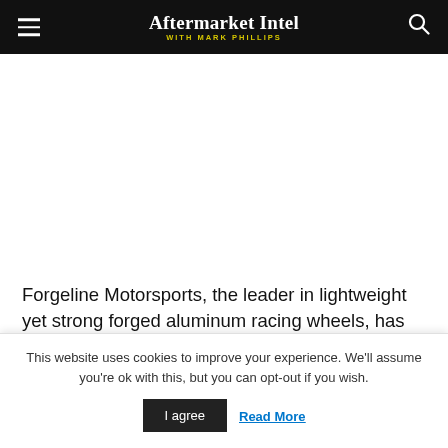Aftermarket Intel WITH MARK PHILLIPS
Forgeline Motorsports, the leader in lightweight yet strong forged aluminum racing wheels, has released the latest addition to their competition
This website uses cookies to improve your experience. We'll assume you're ok with this, but you can opt-out if you wish.
I agree  Read More